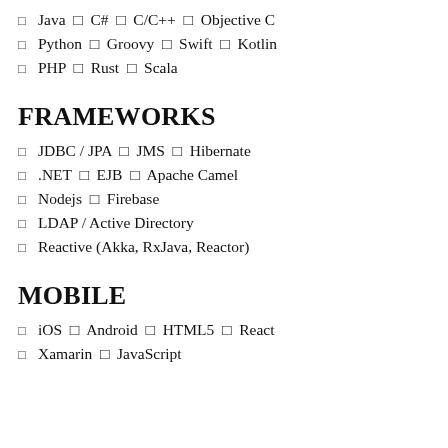Java  C#  C/C++  Objective C
Python  Groovy  Swift  Kotlin
PHP  Rust  Scala
FRAMEWORKS
JDBC / JPA  JMS  Hibernate
.NET  EJB  Apache Camel
Nodejs  Firebase
LDAP / Active Directory
Reactive (Akka, RxJava, Reactor)
MOBILE
iOS  Android  HTML5  React
Xamarin  JavaScript